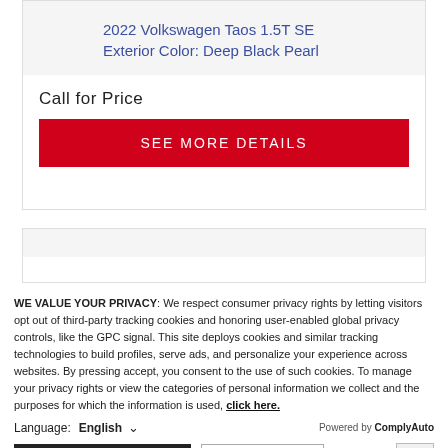2022 Volkswagen Taos 1.5T SE
Exterior Color: Deep Black Pearl
Call for Price
SEE MORE DETAILS
WE VALUE YOUR PRIVACY: We respect consumer privacy rights by letting visitors opt out of third-party tracking cookies and honoring user-enabled global privacy controls, like the GPC signal. This site deploys cookies and similar tracking technologies to build profiles, serve ads, and personalize your experience across websites. By pressing accept, you consent to the use of such cookies. To manage your privacy rights or view the categories of personal information we collect and the purposes for which the information is used, click here.
Language: English
Powered by ComplyAuto
Accept and Continue →
Privacy Policy
×